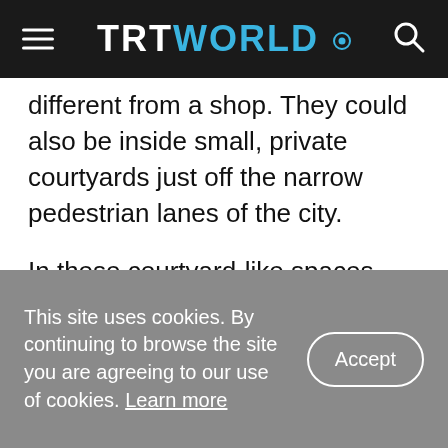TRT WORLD
different from a shop. They could also be inside small, private courtyards just off the narrow pedestrian lanes of the city.
In these courtyard-like spaces, the temple area is public but the dwellings within which they are located are private. Since shikharas (the spire in temple architecture) were only constructed in the 19th century — with the first one being Lala Harsukh Rai's Naya Jain mandir, built with the permission of Mughal Emperor Akbar Shah II — they were not visible from the streets.
This site uses cookies. By continuing to browse the site you are agreeing to our use of cookies. Learn more